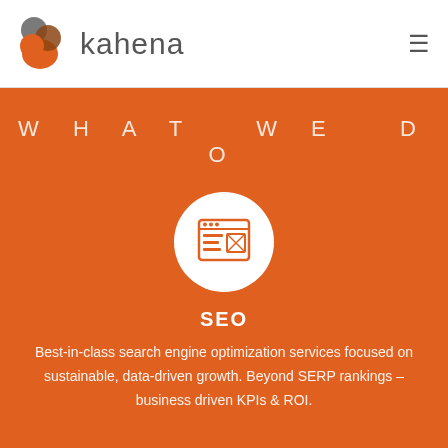[Figure (logo): Kahena logo with orange and brown overlapping cube/K shape icon and the word 'kahena' in gray thin font]
WHAT WE DO
[Figure (illustration): White circle with an orange browser/webpage icon inside showing a content layout with text and image blocks]
SEO
Best-in-class search engine optimization services focused on sustainable, data-driven growth. Beyond SERP rankings – business driven KPIs & ROI.